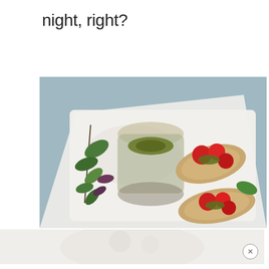night, right?
[Figure (photo): Food photo showing bruschetta topped with cherry tomatoes and pesto sauce on a white rectangular plate, with a glass jar of pesto and fresh herb sprigs beside it, on a light blue background]
[Figure (photo): Bottom strip of another food photo, partially visible, showing a light-colored dish or bowl]